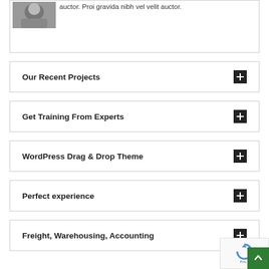auctor. Proi gravida nibh vel velit auctor.
Our Recent Projects
Get Training From Experts
WordPress Drag & Drop Theme
Perfect experience
Freight, Warehousing, Accounting